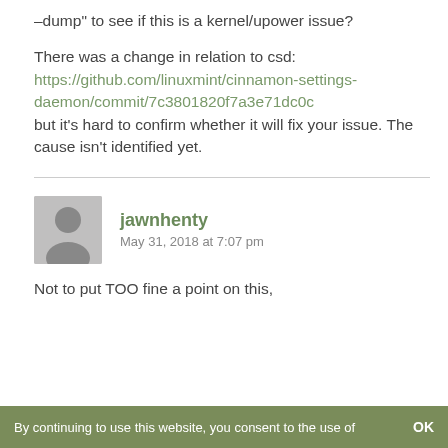-dump” to see if this is a kernel/upower issue?

There was a change in relation to csd: https://github.com/linuxmint/cinnamon-settings-daemon/commit/7c3801820f7a3e71dc0c but it’s hard to confirm whether it will fix your issue. The cause isn’t identified yet.
jawnhenty
May 31, 2018 at 7:07 pm
Not to put TOO fine a point on this,
By continuing to use this website, you consent to the use of    OK